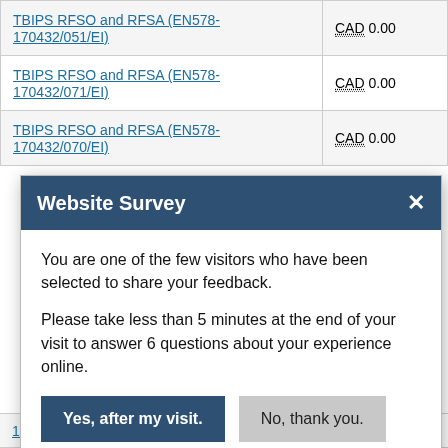| Contract/Agreement | Amount |
| --- | --- |
| TBIPS RFSO and RFSA (EN578-170432/051/EI) | CAD 0.00 |
| TBIPS RFSO and RFSA (EN578-170432/071/EI) | CAD 0.00 |
| TBIPS RFSO and RFSA (EN578-170432/070/EI) | CAD 0.00 |
| 170432/082/EI) |  |
[Figure (screenshot): Website Survey modal dialog with title 'Website Survey', close button (×), body text inviting the user to share feedback, and two buttons: 'Yes, after my visit.' (dark blue) and 'No, thank you.' (gray).]